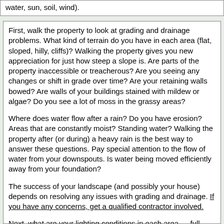water, sun, soil, wind).
First, walk the property to look at grading and drainage problems. What kind of terrain do you have in each area (flat, sloped, hilly, cliffs)? Walking the property gives you new appreciation for just how steep a slope is. Are parts of the property inaccessible or treacherous? Are you seeing any changes or shift in grade over time? Are your retaining walls bowed? Are walls of your buildings stained with mildew or algae? Do you see a lot of moss in the grassy areas?
Where does water flow after a rain? Do you have erosion? Areas that are constantly moist? Standing water? Walking the property after (or during) a heavy rain is the best way to answer these questions. Pay special attention to the flow of water from your downspouts. Is water being moved efficiently away from your foundation?
The success of your landscape (and possibly your house) depends on resolving any issues with grading and drainage. If you have any concerns, get a qualified contractor involved.
Next, what are your lighting conditions in each area — full